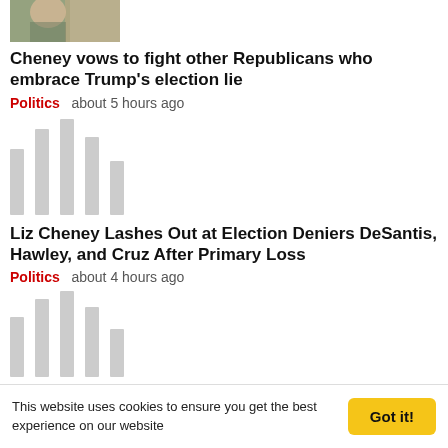[Figure (photo): Small thumbnail of a person outdoors, partially visible at top of page]
Cheney vows to fight other Republicans who embrace Trump's election lie
Politics   about 5 hours ago
[Figure (other): Loading placeholder bars for a second news article thumbnail]
Liz Cheney Lashes Out at Election Deniers DeSantis, Hawley, and Cruz After Primary Loss
Politics   about 4 hours ago
[Figure (other): Loading placeholder bars for a third news article thumbnail]
This website uses cookies to ensure you get the best experience on our website